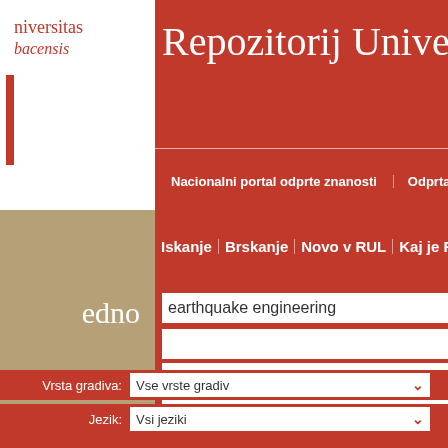[Figure (logo): University logo with text 'universitas' and 'bacensis' in serif italic font]
Repozitorij Univerze
Nacionalni portal odprte znanosti | Odprta znanos
Iskanje | Brskanje | Novo v RUL | Kaj je RUL
edno
earthquake engineering
Vrsta gradiva: Vse vrste gradiv
Jezik: Vsi jeziki